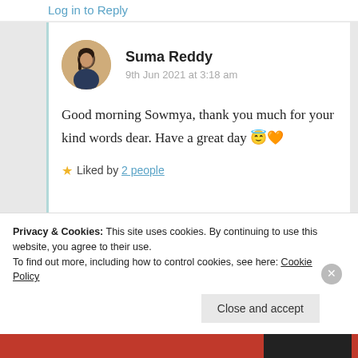Log in to Reply
Suma Reddy
9th Jun 2021 at 3:18 am
Good morning Sowmya, thank you much for your kind words dear. Have a great day 😇🧡
★ Liked by 2 people
Privacy & Cookies: This site uses cookies. By continuing to use this website, you agree to their use.
To find out more, including how to control cookies, see here: Cookie Policy
Close and accept